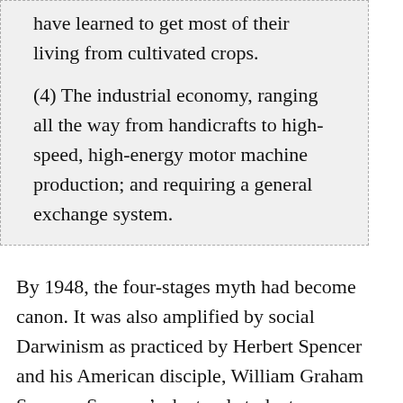have learned to get most of their living from cultivated crops.

(4) The industrial economy, ranging all the way from handicrafts to high-speed, high-energy motor machine production; and requiring a general exchange system.
By 1948, the four-stages myth had become canon. It was also amplified by social Darwinism as practiced by Herbert Spencer and his American disciple, William Graham Sumner. Sumner's doctoral student, Thorstein Veblen, adopted Sumner's perspective of social evolution but jettisoned the laissez-faire component of his